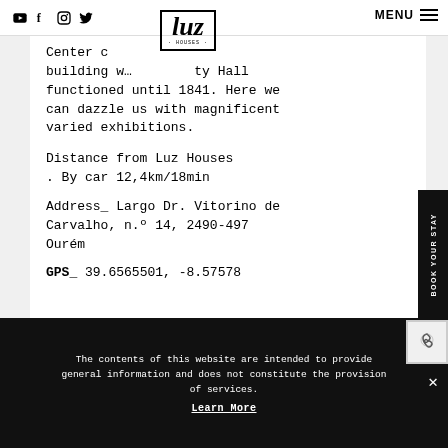Luz Houses — navigation header with social icons (YouTube, Facebook, Instagram, Twitter), logo, MENU button
Center c… building w… …ty Hall functioned until 1841. Here we can dazzle us with magnificent varied exhibitions.
Distance from Luz Houses
. By car 12,4km/18min
Address_ Largo Dr. Vitorino de Carvalho, n.º 14, 2490-497 Ourém
GPS_ 39.6565501, -8.57578
The contents of this website are intended to provide general information and does not constitute the provision of services.
Learn More